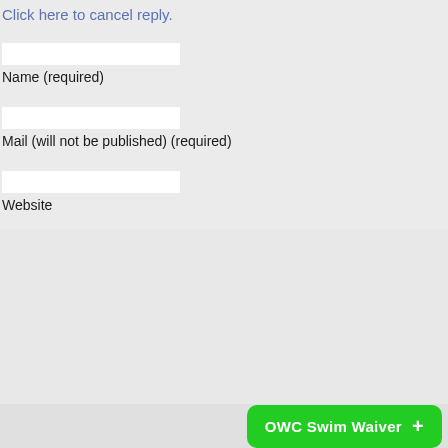Click here to cancel reply.
Name (required)
Mail (will not be published) (required)
Website
OWC Swim Waiver +